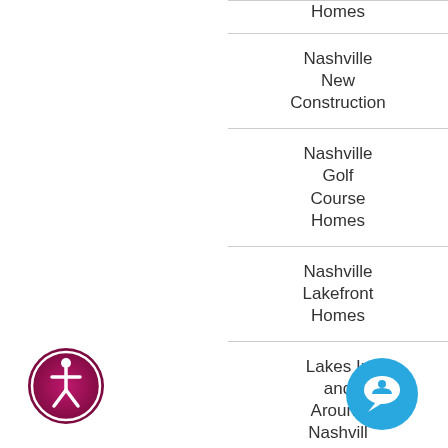Homes
Nashville New Construction
Nashville Golf Course Homes
Nashville Lakefront Homes
Lakes In and Around Nashville
Nashville Equestrian
[Figure (illustration): Accessibility icon: circular pink/maroon gradient circle with a white stick figure person symbol]
[Figure (illustration): Chat/support icon: blue circular button with white speech bubble and person symbol]